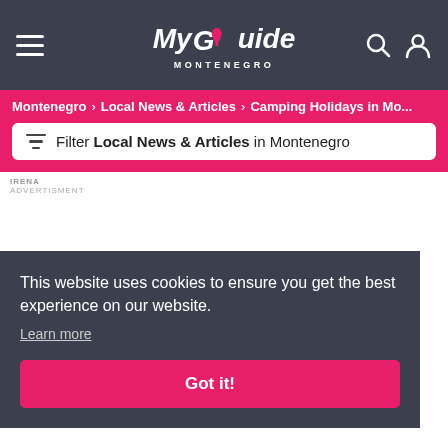My Guide Montenegro
Montenegro > Local News & Articles > Camping Holidays in Mo...
Filter Local News & Articles in Montenegro
IRENA
ADVERTISMENT
This website uses cookies to ensure you get the best experience on our website.
Learn more
Got it!